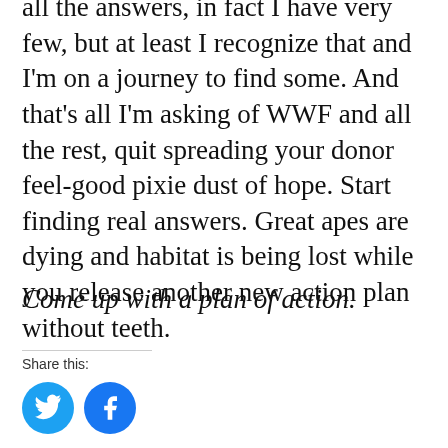all the answers, in fact I have very few, but at least I recognize that and I'm on a journey to find some. And that's all I'm asking of WWF and all the rest, quit spreading your donor feel-good pixie dust of hope. Start finding real answers. Great apes are dying and habitat is being lost while you release another new action plan without teeth.
Come up with a plan of action.
Share this:
[Figure (illustration): Two circular social media share buttons: Twitter (blue with bird icon) and Facebook (blue with F icon)]